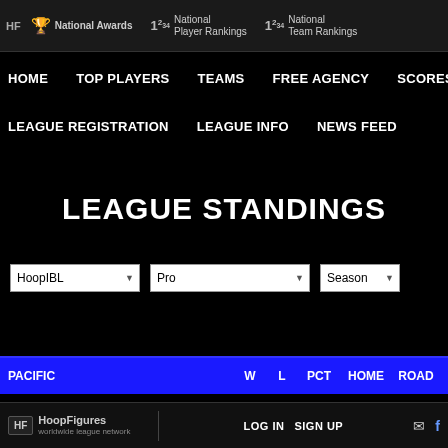HF | National Awards | National Player Rankings | National Team Rankings
HOME
TOP PLAYERS
TEAMS
FREE AGENCY
SCORES
LEAGUE REGISTRATION
LEAGUE INFO
NEWS FEED
LEAGUE STANDINGS
HoopIBL [dropdown] | Pro [dropdown] | Season [dropdown]
| PACIFIC | W | L | PCT | HOME | ROAD |
| --- | --- | --- | --- | --- | --- |
| Shooters |  |  |  |  |  |
HF HoopFigures worldwide league network | LOG IN | SIGN UP